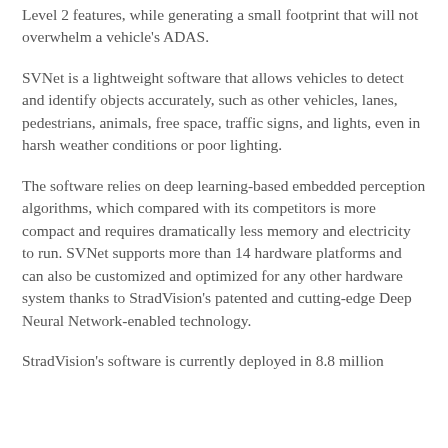Level 2 features, while generating a small footprint that will not overwhelm a vehicle's ADAS.
SVNet is a lightweight software that allows vehicles to detect and identify objects accurately, such as other vehicles, lanes, pedestrians, animals, free space, traffic signs, and lights, even in harsh weather conditions or poor lighting.
The software relies on deep learning-based embedded perception algorithms, which compared with its competitors is more compact and requires dramatically less memory and electricity to run. SVNet supports more than 14 hardware platforms and can also be customized and optimized for any other hardware system thanks to StradVision's patented and cutting-edge Deep Neural Network-enabled technology.
StradVision's software is currently deployed in 8.8 million